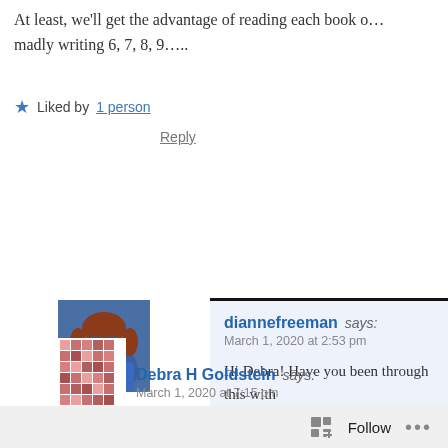At least, we'll get the advantage of reading each book o… madly writing 6, 7, 8, 9…...
Liked by 1 person
Reply
diannefreeman says: March 1, 2020 at 2:53 pm
Hi Debra! Have you been through this with know how writers work on more than one a
Liked by 1 person
Reply
Debra H Goldstein says: March 1, 2020 at 7:15 pm
Follow